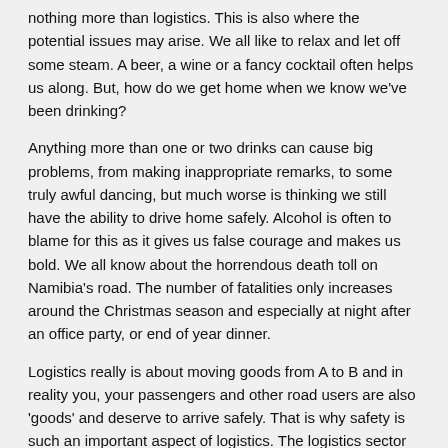nothing more than logistics. This is also where the potential issues may arise. We all like to relax and let off some steam. A beer, a wine or a fancy cocktail often helps us along. But, how do we get home when we know we've been drinking?
Anything more than one or two drinks can cause big problems, from making inappropriate remarks, to some truly awful dancing, but much worse is thinking we still have the ability to drive home safely. Alcohol is often to blame for this as it gives us false courage and makes us bold. We all know about the horrendous death toll on Namibia's road. The number of fatalities only increases around the Christmas season and especially at night after an office party, or end of year dinner.
Logistics really is about moving goods from A to B and in reality you, your passengers and other road users are also 'goods' and deserve to arrive safely. That is why safety is such an important aspect of logistics. The logistics sector cannot flourish if it is not done safely. This doesn't even take into account my personal desire, but also of all Namibians to see the number or road deaths drastically reduced. It is a very depressing statistic to know that Namibia leads the world in road fatalities.
Of course, this is a worst case scenario and lots of people believe they can still drink and drive, it's always other people that have trouble drinking and